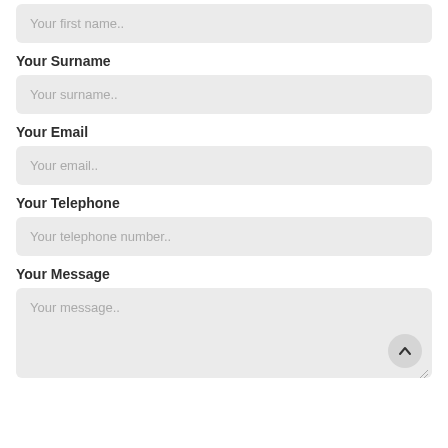Your first name..
Your Surname
Your surname..
Your Email
Your email..
Your Telephone
Your telephone number..
Your Message
Your message..